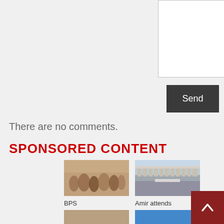[Figure (screenshot): White textarea input box with resize handle in bottom-right corner]
Send
There are no comments.
SPONSORED CONTENT
[Figure (photo): Crowd of people at what appears to be a workshop or gathering indoors]
BPS workshops sharpen...
[Figure (photo): Outdoor scene with archways, Eurofighter aircraft arrival ceremony]
Amir attends arrival of Eurofighter...